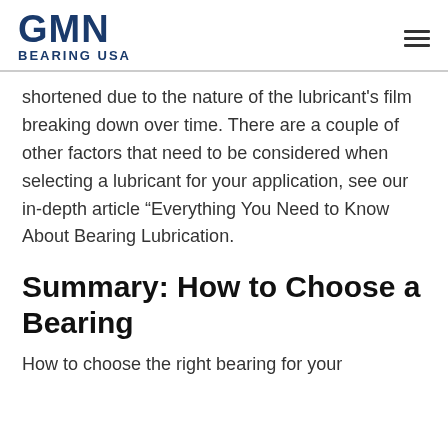GMN BEARING USA
shortened due to the nature of the lubricant's film breaking down over time. There are a couple of other factors that need to be considered when selecting a lubricant for your application, see our in-depth article “Everything You Need to Know About Bearing Lubrication.
Summary: How to Choose a Bearing
How to choose the right bearing for your